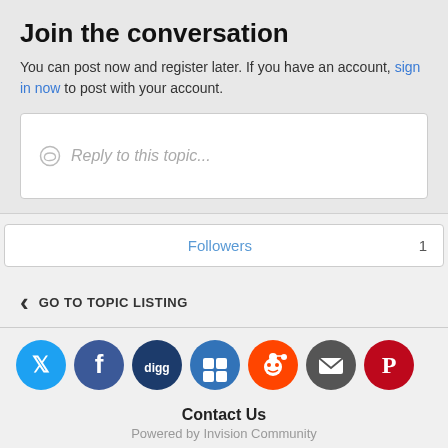Join the conversation
You can post now and register later. If you have an account, sign in now to post with your account.
Reply to this topic...
Followers  1
GO TO TOPIC LISTING
[Figure (other): Social media share icons: Twitter (blue), Facebook (dark blue), Digg (dark blue), Delicious (blue), Reddit (orange), Email (dark gray), Pinterest (dark red)]
Contact Us
Powered by Invision Community